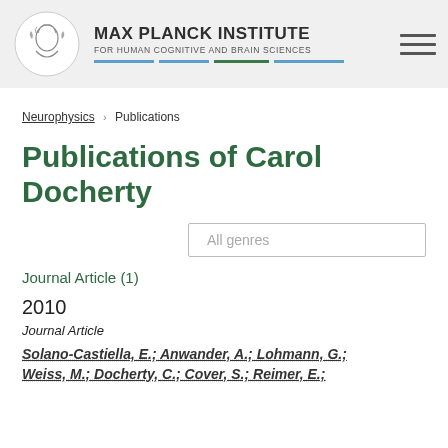MAX PLANCK INSTITUTE FOR HUMAN COGNITIVE AND BRAIN SCIENCES
Neurophysics › Publications
Publications of Carol Docherty
All genres
Journal Article (1)
2010
Journal Article
Solano-Castiella, E.; Anwander, A.; Lohmann, G.; Weiss, M.; Docherty, C.; Cover, S.; Reimer, E.;